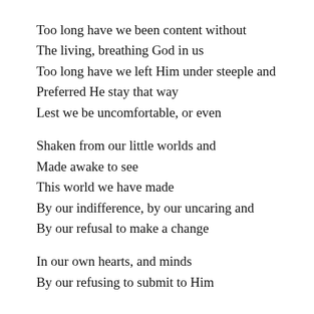Too long have we been content without
The living, breathing God in us
Too long have we left Him under steeple and
Preferred He stay that way
Lest we be uncomfortable, or even

Shaken from our little worlds and
Made awake to see
This world we have made
By our indifference, by our uncaring and
By our refusal to make a change

In our own hearts, and minds
By our refusing to submit to Him